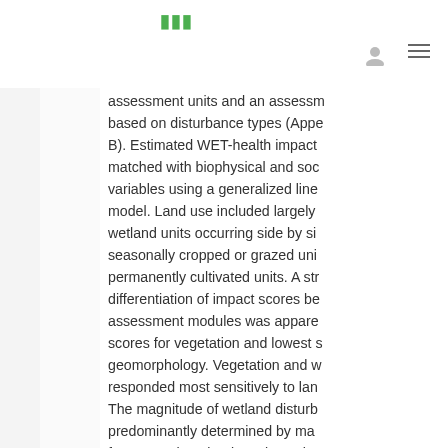assessment units and an assessment based on disturbance types (Appendix B). Estimated WET-health impact matched with biophysical and social variables using a generalized linear model. Land use included largely wetland units occurring side by side seasonally cropped or grazed units, permanently cultivated units. A strong differentiation of impact scores between assessment modules was apparent with highest scores for vegetation and lowest scores for geomorphology. Vegetation and water responded most sensitively to land use. The magnitude of wetland disturbance is predominantly determined by management factors such as land use intensity, drainage intensity, and the application of agrochemicals and influences vegetation attributes and the provision of ecosystem services. The proposed modification